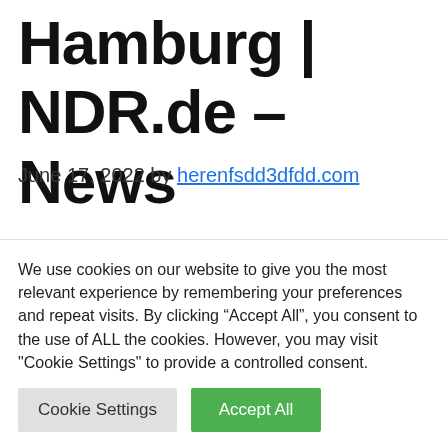Hamburg | NDR.de – News
June 17, 2022 by herenfsdd3dfdd.com
As at: June 17, 2012 at 20:44
The sailing ship “Sea Cloud Spirit” called for
We use cookies on our website to give you the most relevant experience by remembering your preferences and repeat visits. By clicking “Accept All”, you consent to the use of ALL the cookies. However, you may visit "Cookie Settings" to provide a controlled consent.